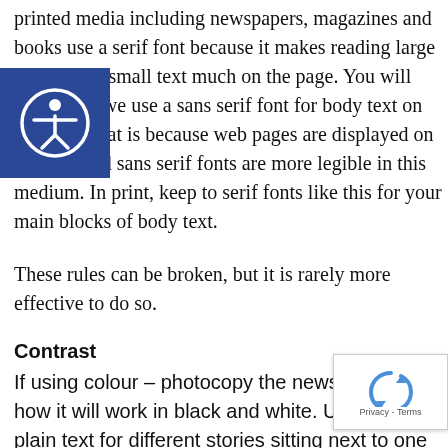printed media including newspapers, magazines and books use a serif font because it makes reading large amounts of small text much on the page. You will notice that we use a sans serif font for body text on this site. That is because web pages are displayed on screens, and sans serif fonts are more legible in this medium. In print, keep to serif fonts like this for your main blocks of body text.
These rules can be broken, but it is rarely more effective to do so.
Contrast
If using colour – photocopy the newsletter to see how it will work in black and white. Use bold and plain text for different stories sitting next to one another but avoid the use of too much italic or bold in body text. If in doubt, keep text plain. Limit the number of typefaces you use to